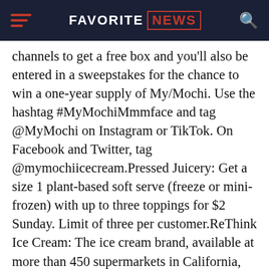FAVORITE NEWS
channels to get a free box and you’ll also be entered in a sweepstakes for the chance to win a one-year supply of My/Mochi. Use the hashtag #MyMochiMmmface and tag @MyMochi on Instagram or TikTok. On Facebook and Twitter, tag @mymochiicecream.Pressed Juicery: Get a size 1 plant-based soft serve (freeze or mini-frozen) with up to three toppings for $2 Sunday. Limit of three per customer.ReThink Ice Cream: The ice cream brand, available at more than 450 supermarkets in California, Idaho, Montana, and Oregon, has a deal for buy six and get two free. Stores include Nugget, Lucky, Bristol Farms, Lazy Acres Markets and Raley’s and the savings should be applied automatically. Steak ‘n Shake: Get a free shake when you join the chain’s rewards